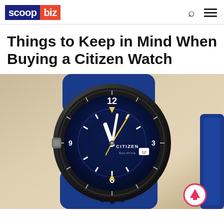scoop biz
Things to Keep in Mind When Buying a Citizen Watch
[Figure (photo): Close-up photo of a Citizen Eco-Drive pilot watch with a blue dial, yellow accent hands, white hour markers, and a blue perforated rubber strap, placed on a light wood surface next to a blue object.]